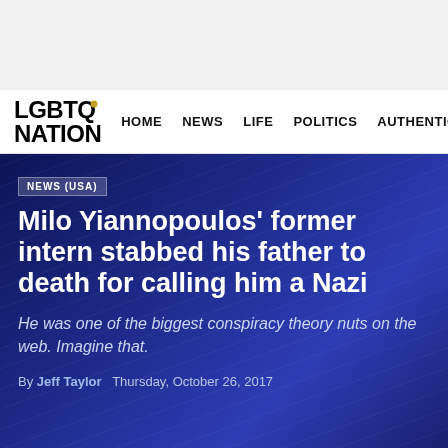LGBTQ NATION — HOME  NEWS  LIFE  POLITICS  AUTHENTIC
NEWS (USA)
Milo Yiannopoulos' former intern stabbed his father to death for calling him a Nazi
He was one of the biggest conspiracy theory nuts on the web. Imagine that.
By Jeff Taylor  Thursday, October 26, 2017